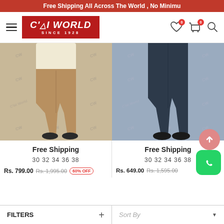Free Shipping All Across The World , No Minimu
[Figure (logo): C'lai World Since 1928 logo in red box with hamburger menu]
[Figure (photo): Person wearing tan/khaki slim fit pants with dark shoes, CW watermark background]
Free Shipping
30  32  34  36  38
Rs. 799.00  Rs. 1,995.00  60% OFF
[Figure (photo): Person wearing dark navy slim fit jeans with dark loafer shoes, CW watermark background]
Free Shipping
30  32  34  36  38
Rs. 649.00  Rs. 1,595.00
FILTERS  +  |  Sort By